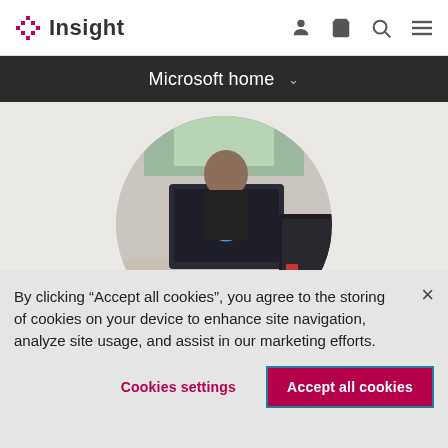Insight — navigation header with logo, user, cart, search, and menu icons
Microsoft home
[Figure (photo): Circular cropped photo of a woman sitting at a desk with a Microsoft Surface device and another device in the foreground]
By clicking “Accept all cookies”, you agree to the storing of cookies on your device to enhance site navigation, analyze site usage, and assist in our marketing efforts.
Cookies settings
Accept all cookies